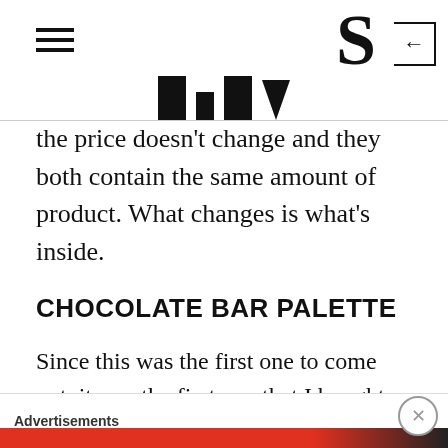the price doesn't change and they both contain the same amount of product. What changes is what's inside.
CHOCOLATE BAR PALETTE
Since this was the first one to come out, it was the first one that I bought and I honestly fell in love immediately! The colors are right up my alley and there are enough mattes and shimmers to create countless looks. The shadows are great quality and they work great on the eyes. When I got this
Advertisements